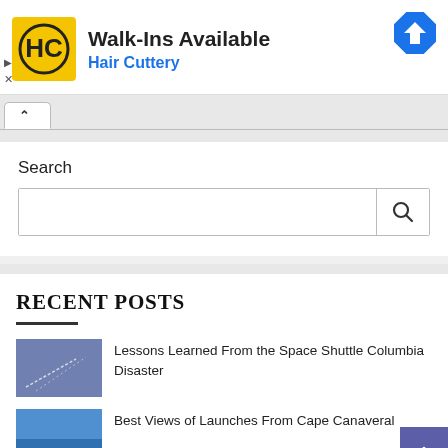[Figure (screenshot): Advertisement banner for Hair Cuttery showing logo, 'Walk-Ins Available' text, blue navigation direction icon, and ad controls]
[Figure (screenshot): Browser tab interface with a single active tab showing an up-chevron/collapse icon]
Search
[Figure (screenshot): Search input box with a magnifying glass search button on the right]
RECENT POSTS
Lessons Learned From the Space Shuttle Columbia Disaster
Best Views of Launches From Cape Canaveral